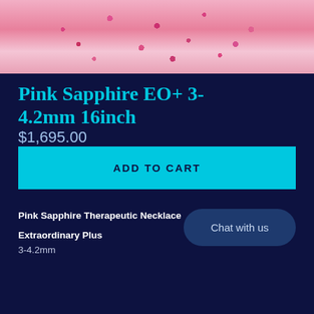[Figure (photo): Close-up photo of pink sapphire beads held in fingers, showing sparkling pink gemstone beads with reflective facets]
Pink Sapphire EO+ 3-4.2mm 16inch
$1,695.00
ADD TO CART
Pink Sapphire Therapeutic Necklace
Extraordinary Plus
3-4.2mm